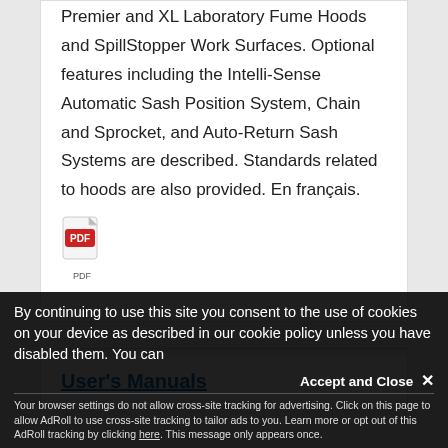Premier and XL Laboratory Fume Hoods and SpillStopper Work Surfaces. Optional features including the Intelli-Sense Automatic Sash Position System, Chain and Sprocket, and Auto-Return Sash Systems are described. Standards related to hoods are also provided. En français.
[Figure (other): PDF file icon with red Adobe PDF logo and 'PDF' label below]
User's Manuals
By continuing to use this site you consent to the use of cookies on your device as described in our cookie policy unless you have disabled them. You can
Accept and Close ×
Your browser settings do not allow cross-site tracking for advertising. Click on this page to allow AdRoll to use cross-site tracking to tailor ads to you. Learn more or opt out of this AdRoll tracking by clicking here. This message only appears once.